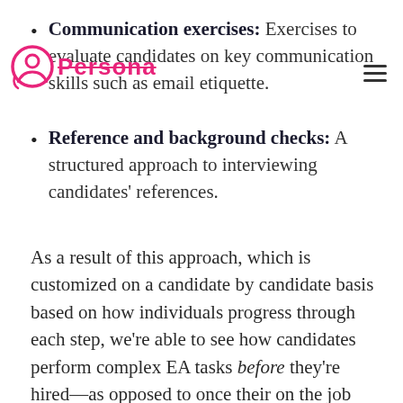Communication exercises: Exercises to evaluate candidates on key communication skills such as email etiquette.
Reference and background checks: A structured approach to interviewing candidates’ references.
As a result of this approach, which is customized on a candidate by candidate basis based on how individuals progress through each step, we’re able to see how candidates perform complex EA tasks before they’re hired—as opposed to once their on the job and it’s too late (a common experience for many executives that